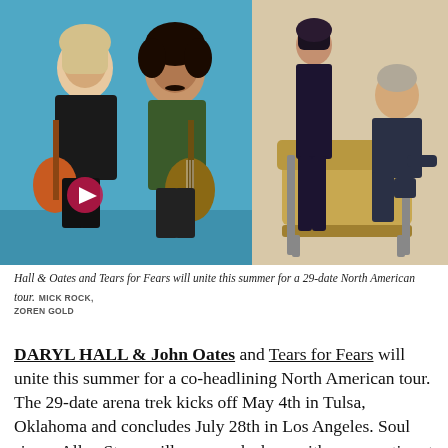[Figure (photo): Left photo: Hall & Oates (two men with guitars) against a bright blue background. Right photo: Tears for Fears (two men, one seated in a lounge chair) against a beige/tan background.]
Hall & Oates and Tears for Fears will unite this summer for a 29-date North American tour.  MICK ROCK, ZOREN GOLD
DARYL HALL & John Oates and Tears for Fears will unite this summer for a co-headlining North American tour. The 29-date arena trek kicks off May 4th in Tulsa, Oklahoma and concludes July 28th in Los Angeles. Soul singer Allen Stone will open each show with an acoustic set